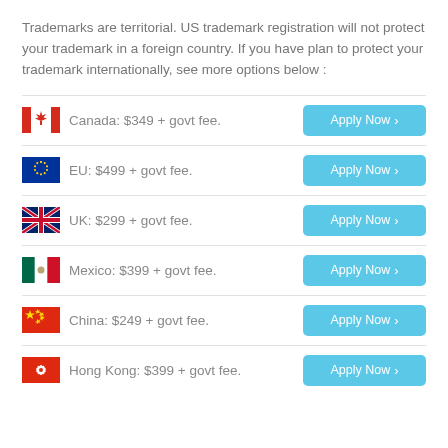Trademarks are territorial. US trademark registration will not protect your trademark in a foreign country. If you have plan to protect your trademark internationally, see more options below :
Canada: $349 + govt fee.
EU: $499 + govt fee.
UK: $299 + govt fee.
Mexico: $399 + govt fee.
China: $249 + govt fee.
Hong Kong: $399 + govt fee.